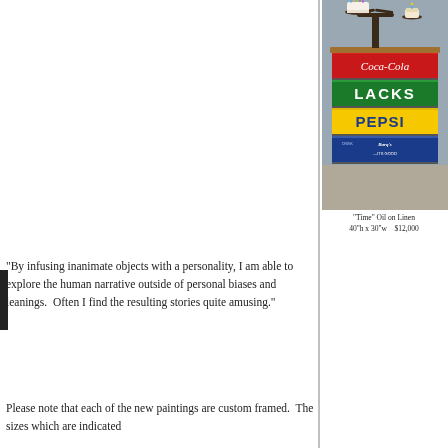[Figure (photo): Painting titled 'Time' showing stacked vintage soda crates (Coca-Cola red, Lacks green, Pepsi yellow, Barq's blue) with a balance scale on top holding a birthday cake and a cupcake with candles.]
"Time" Oil on Linen
40"h x 30"w    $12,000
"By infusing inanimate objects with a personality, I am able to explore the human narrative outside of personal biases and leanings.  Often I find the resulting stories quite amusing."
Please note that each of the new paintings are custom framed.  The sizes which are indicated